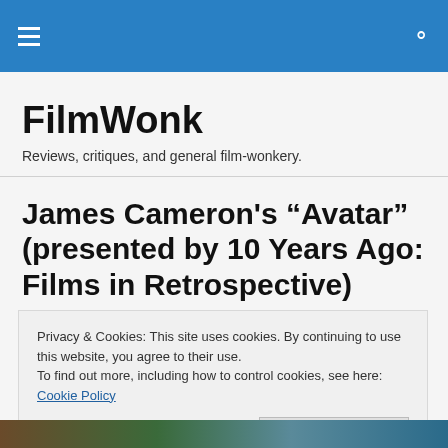FilmWonk (navigation bar with hamburger menu and search icon)
FilmWonk
Reviews, critiques, and general film-wonkery.
James Cameron's “Avatar” (presented by 10 Years Ago: Films in Retrospective)
Privacy & Cookies: This site uses cookies. By continuing to use this website, you agree to their use.
To find out more, including how to control cookies, see here: Cookie Policy
Close and accept
[Figure (photo): Partial bottom strip showing a colorful image, likely a movie still from Avatar]